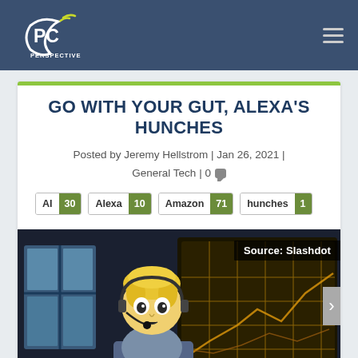PC Perspective
GO WITH YOUR GUT, ALEXA'S HUNCHES
Posted by Jeremy Hellstrom | Jan 26, 2021 | General Tech | 0
AI 30 | Alexa 10 | Amazon 71 | hunches 1
[Figure (screenshot): Animated cartoon character (South Park style) with blonde hair, sitting at a desk with headset, background shows dark room with glowing yellow grid screens. Overlay text: Source: Slashdot]